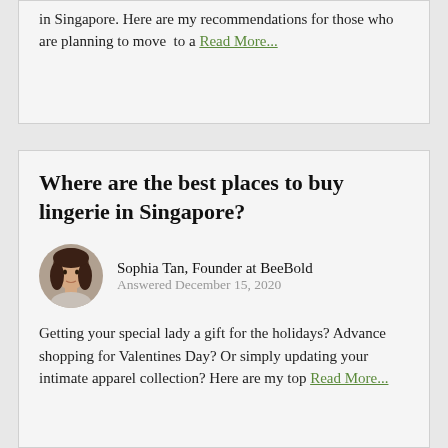in Singapore. Here are my recommendations for those who are planning to move to a Read More...
Where are the best places to buy lingerie in Singapore?
Sophia Tan, Founder at BeeBold
Answered December 15, 2020
Getting your special lady a gift for the holidays? Advance shopping for Valentines Day? Or simply updating your intimate apparel collection? Here are my top Read More...